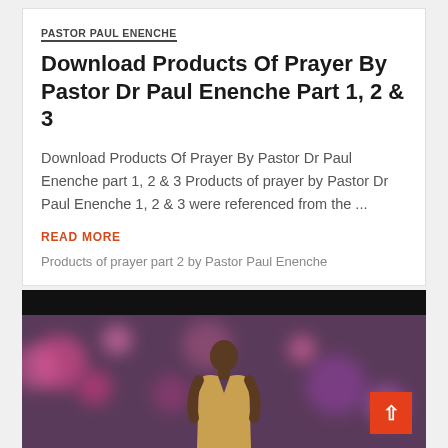PASTOR PAUL ENENCHE
Download Products Of Prayer By Pastor Dr Paul Enenche Part 1, 2 & 3
Download Products Of Prayer By Pastor Dr Paul Enenche part 1, 2 & 3 Products of prayer by Pastor Dr Paul Enenche 1, 2 & 3 were referenced from the ...
READ MORE
Products of prayer part 2 by Pastor Paul Enenche
[Figure (photo): A person (pastor) on stage with colorful bokeh lights in the background against a dark/purple background. An orange scroll-to-top button is visible in the bottom right corner.]